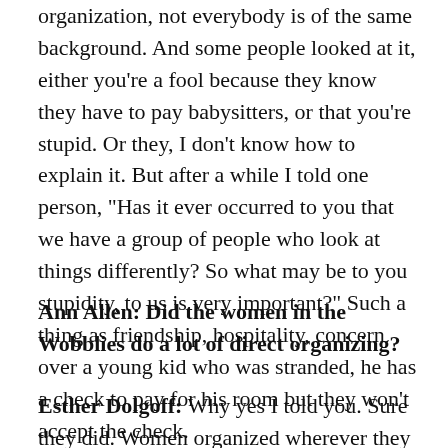organization, not everybody is of the same background. And some people looked at it, either you're a fool because they know they have to pay babysitters, or that you're stupid. Or they, I don't know how to explain it. But after a while I told one person, "Has it ever occurred to you that we have a group of people who look at things differently? So what may be to you stupidity, to us is very important?" Such a thing as friendship, hospitality, concern over a young kid who was stranded, he has a check to pay for his room but they won't accept the check.
Ann Allen: Did the women in the Wobblies do a lot of direct organizing?
Esther Dolgoff: Why yes I told you. Sure they did. Women organized wherever they were. That's the